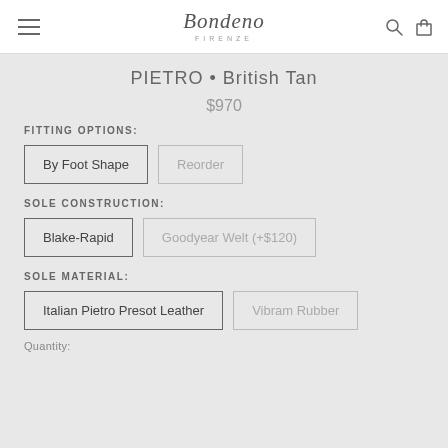Bondeno Firenze
PIETRO • British Tan
$970
FITTING OPTIONS:
By Foot Shape
Reorder
SOLE CONSTRUCTION:
Blake-Rapid
Goodyear Welt (+$120)
SOLE MATERIAL:
Italian Pietro Presot Leather
Vibram Rubber
Quantity: